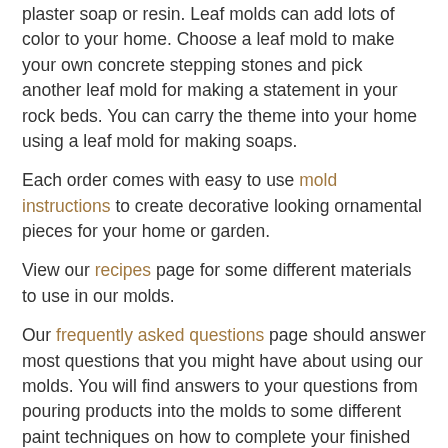plaster soap or resin. Leaf molds can add lots of color to your home. Choose a leaf mold to make your own concrete stepping stones and pick another leaf mold for making a statement in your rock beds. You can carry the theme into your home using a leaf mold for making soaps.
Each order comes with easy to use mold instructions to create decorative looking ornamental pieces for your home or garden.
View our recipes page for some different materials to use in our molds.
Our frequently asked questions page should answer most questions that you might have about using our molds. You will find answers to your questions from pouring products into the molds to some different paint techniques on how to complete your finished pieces.
We have a customer gallery page where you can view